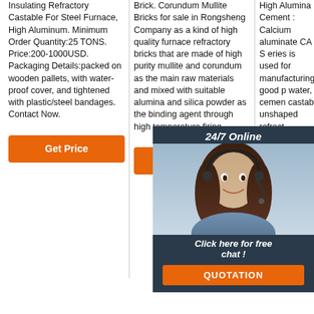Insulating Refractory Castable For Steel Furnace, High Aluminum. Minimum Order Quantity:25 TONS. Price:200-1000USD. Packaging Details:packed on wooden pallets, with water-proof cover, and tightened with plastic/steel bandages. Contact Now.
Brick. Corundum Mullite Bricks for sale in Rongsheng Company as a kind of high quality furnace refractory bricks that are made of high purity mullite and corundum as the main raw materials and mixed with suitable alumina and silica powder as the binding agent through high temperature firing.
High Alumina Cement : Calcium aluminate CA Series is used for manufacturing good p... water, cemen... castab... unshaped refractories materials are used for temperature, pressure, reducing condition. It is also high quality binder of refractory castable, which is extensively applied in
[Figure (other): Live chat widget overlay with woman wearing headset, '24/7 Online' header, 'Click here for free chat!' text, and 'QUOTATION' orange button]
[Figure (other): Top badge icon — circular badge with 'TOP' text]
Get Price (button, column 1)
Get Price (button, column 2)